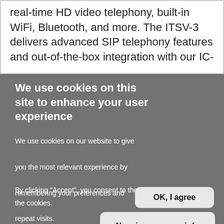real-time HD video telephony, built-in WiFi, Bluetooth, and more. The ITSV-3 delivers advanced SIP telephony features and out-of-the-box integration with our IC-
We use cookies on this site to enhance your user experience
We use cookies on our website to give you the most relevant experience by remembering your preferences and repeat visits.
By clicking "Accept", you consent to the use of all the cookies.
OK, I agree
No, give me more info